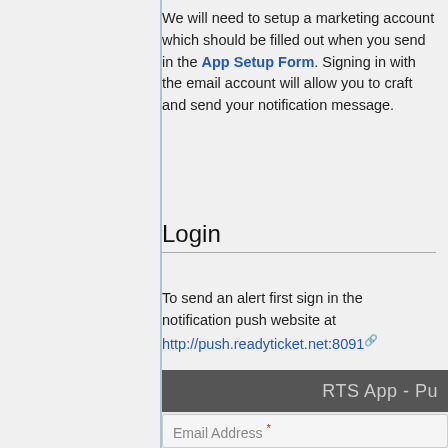We will need to setup a marketing account which should be filled out when you send in the App Setup Form. Signing in with the email account will allow you to craft and send your notification message.
Login
To send an alert first sign in the notification push website at http://push.readyticket.net:8091
[Figure (screenshot): Screenshot of RTS App - Push web interface showing a dark header bar with 'RTS App - Pu...' title, a Log In button in orange, and an Email Address field below.]